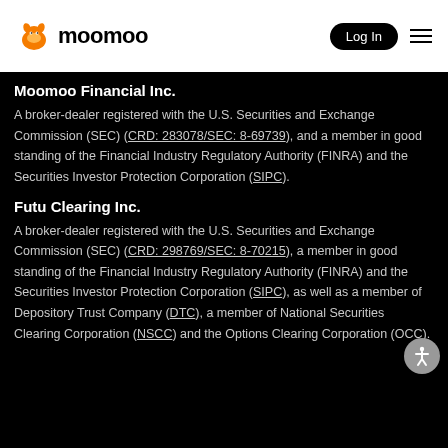moomoo | Log In
Moomoo Financial Inc.
A broker-dealer registered with the U.S. Securities and Exchange Commission (SEC) (CRD: 283078/SEC: 8-69739), and a member in good standing of the Financial Industry Regulatory Authority (FINRA) and the Securities Investor Protection Corporation (SIPC).
Futu Clearing Inc.
A broker-dealer registered with the U.S. Securities and Exchange Commission (SEC) (CRD: 298769/SEC: 8-70215), a member in good standing of the Financial Industry Regulatory Authority (FINRA) and the Securities Investor Protection Corporation (SIPC), as well as a member of Depository Trust Company (DTC), a member of National Securities Clearing Corporation (NSCC) and the Options Clearing Corporation (OCC).